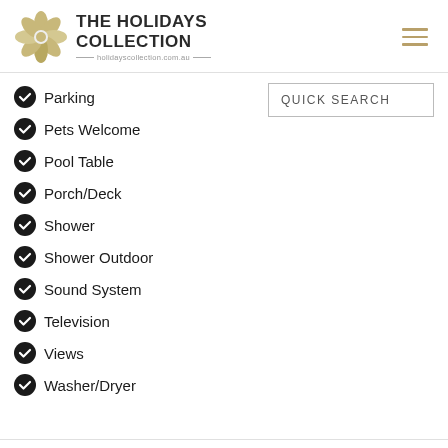[Figure (logo): The Holidays Collection logo with flower/petal graphic and website holidayscollection.com.au]
Parking
Pets Welcome
Pool Table
Porch/Deck
Shower
Shower Outdoor
Sound System
Television
Views
Washer/Dryer